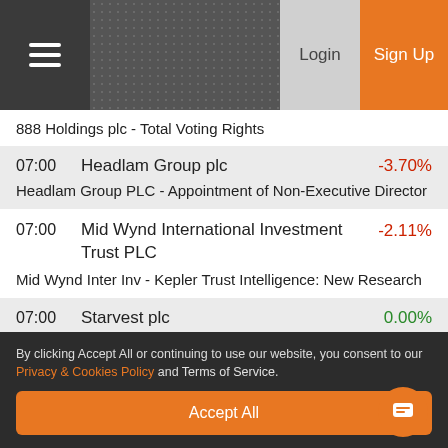Login  Sign Up
888 Holdings plc - Total Voting Rights
07:00  Headlam Group plc  -3.70%
Headlam Group PLC - Appointment of Non-Executive Director
07:00  Mid Wynd International Investment Trust PLC  -2.11%
Mid Wynd Inter Inv - Kepler Trust Intelligence: New Research
07:00  Starvest plc  0.00%
Starvest PLC - Directorate Change
07:00  ...  55.55%
By clicking Accept All or continuing to use our website, you consent to our Privacy & Cookies Policy and Terms of Service.
Accept All